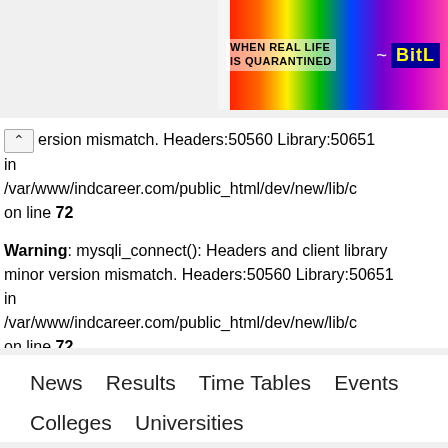[Figure (illustration): Colorful rainbow banner advertisement with text 'WHEN REAL LIFE IS QUARANTINED' and 'BitL' logo on the right]
version mismatch. Headers:50560 Library:50651
in
/var/www/indcareer.com/public_html/dev/new/lib/c
on line 72
Warning: mysqli_connect(): Headers and client library minor version mismatch. Headers:50560 Library:50651
in
/var/www/indcareer.com/public_html/dev/new/lib/c
on line 72
News   Results   Time Tables   Events
Colleges   Universities